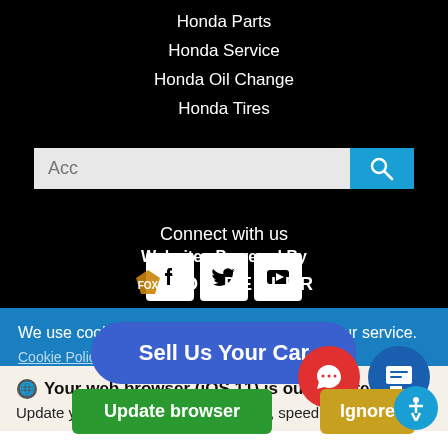Honda Parts
Honda Service
Honda Oil Change
Honda Tires
[Figure (screenshot): Search input field with placeholder text 'Acc' and a blue search button with magnifying glass icon]
Connect with us
[Figure (infographic): Social media icons: Facebook, Twitter, YouTube]
Websites Powered By FOX DEALER
We use cookies to optimize our website and our service.
Cookie Policy · Privacy Statement
Your web browser (iOS 11) is out of date.
Update your browser for more security, speed and
Sell Us Your Car
Update browser
Ignore